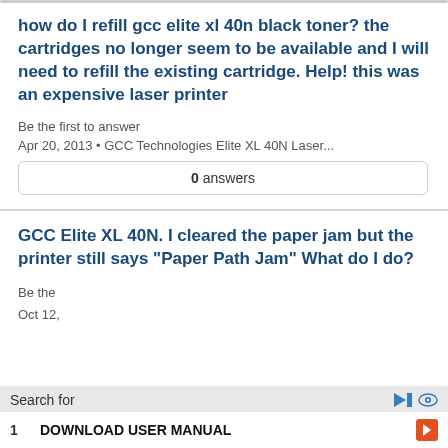how do I refill gcc elite xl 40n black toner? the cartridges no longer seem to be available and I will need to refill the existing cartridge. Help! this was an expensive laser printer
Be the first to answer
Apr 20, 2013 • GCC Technologies Elite XL 40N Laser...
0 answers
GCC Elite XL 40N. I cleared the paper jam but the printer still says "Paper Path Jam" What do I do?
Be the
Search for
1 DOWNLOAD USER MANUAL
Oct 12,